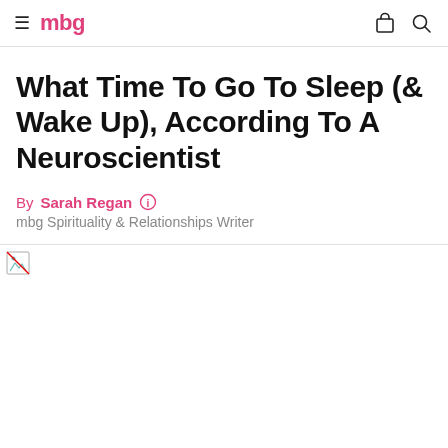mbg
What Time To Go To Sleep (& Wake Up), According To A Neuroscientist
By Sarah Regan   mbg Spirituality & Relationships Writer
[Figure (photo): Article hero image (not loaded / broken image placeholder)]